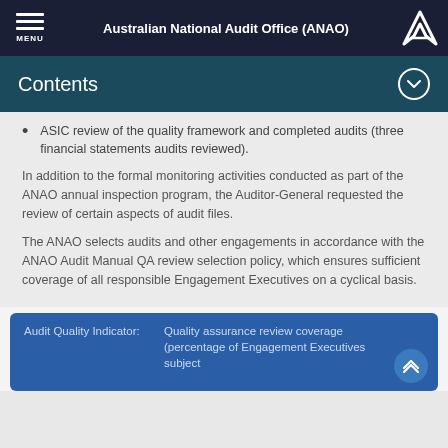Australian National Audit Office (ANAO)
Contents
ASIC review of the quality framework and completed audits (three financial statements audits reviewed).
In addition to the formal monitoring activities conducted as part of the ANAO annual inspection program, the Auditor-General requested the review of certain aspects of audit files.
The ANAO selects audits and other engagements in accordance with the ANAO Audit Manual QA review selection policy, which ensures sufficient coverage of all responsible Engagement Executives on a cyclical basis.
| Audit Quality Indicator: | Quality assurance review coverage (percentage of Engagement Executives subject... |
| --- | --- |